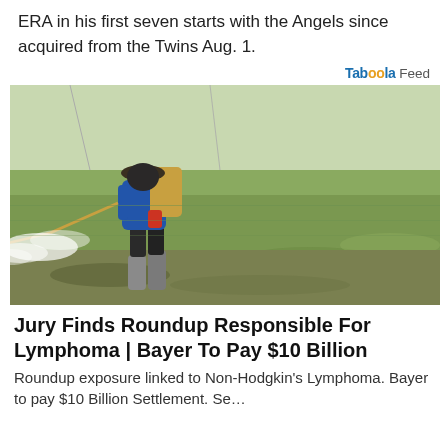ERA in his first seven starts with the Angels since acquired from the Twins Aug. 1.
Taboola Feed
[Figure (photo): A farm worker wearing a hat and blue long-sleeve shirt, carrying a backpack sprayer, spraying pesticide or herbicide on a green rice paddy field. White mist spray visible.]
Jury Finds Roundup Responsible For Lymphoma | Bayer To Pay $10 Billion
Roundup exposure linked to Non-Hodgkin's Lymphoma. Bayer to pay $10 Billion Settlement. Se...